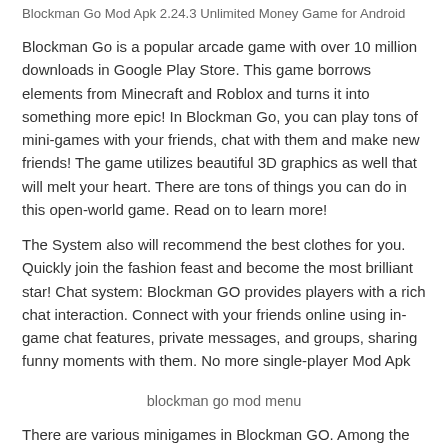Blockman Go Mod Apk 2.24.3 Unlimited Money Game for Android
Blockman Go is a popular arcade game with over 10 million downloads in Google Play Store. This game borrows elements from Minecraft and Roblox and turns it into something more epic! In Blockman Go, you can play tons of mini-games with your friends, chat with them and make new friends! The game utilizes beautiful 3D graphics as well that will melt your heart. There are tons of things you can do in this open-world game. Read on to learn more!
The System also will recommend the best clothes for you. Quickly join the fashion feast and become the most brilliant star! Chat system: Blockman GO provides players with a rich chat interaction. Connect with your friends online using in-game chat features, private messages, and groups, sharing funny moments with them. No more single-player Mod Apk
blockman go mod menu
There are various minigames in Blockman GO. Among the notable ones is Sky Block, which offers the same gameplay as the original Skyblock Game, but with the addition of mine-exploring,